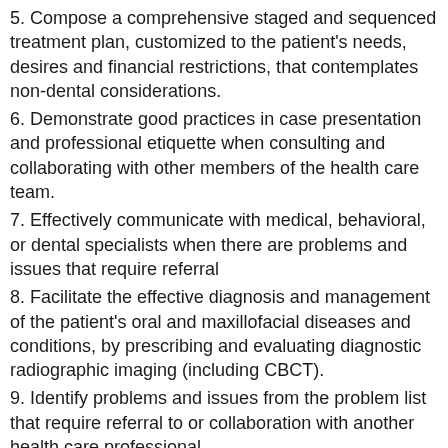5. Compose a comprehensive staged and sequenced treatment plan, customized to the patient's needs, desires and financial restrictions, that contemplates non-dental considerations.
6. Demonstrate good practices in case presentation and professional etiquette when consulting and collaborating with other members of the health care team.
7. Effectively communicate with medical, behavioral, or dental specialists when there are problems and issues that require referral
8. Facilitate the effective diagnosis and management of the patient's oral and maxillofacial diseases and conditions, by prescribing and evaluating diagnostic radiographic imaging (including CBCT).
9. Identify problems and issues from the problem list that require referral to or collaboration with another health care professional.